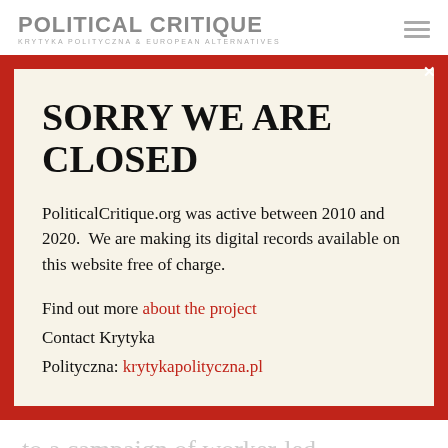POLITICAL CRITIQUE
KRYTYKA POLITYCZNA & EUROPEAN ALTERNATIVES
[Figure (screenshot): A modal popup box with red border background on a website. Contains a 'SORRY WE ARE CLOSED' heading, explanatory text about PoliticalCritique.org being active between 2010 and 2020, and links to find out more about the project and contact Krytyka Polityczna.]
to a campaign of worker-led
demonstrations with victimisation, by